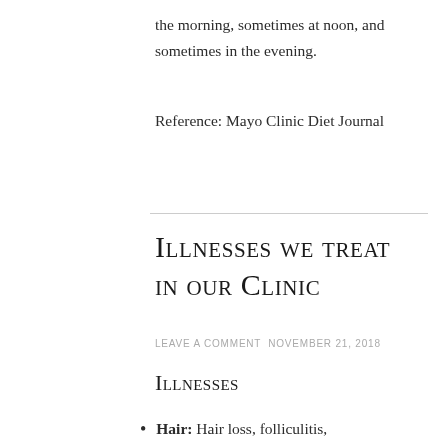the morning, sometimes at noon, and sometimes in the evening.
Reference: Mayo Clinic Diet Journal
Illnesses we treat in our Clinic
LEAVE A COMMENT NOVEMBER 21, 2018
Illnesses
Hair: Hair loss, folliculitis,